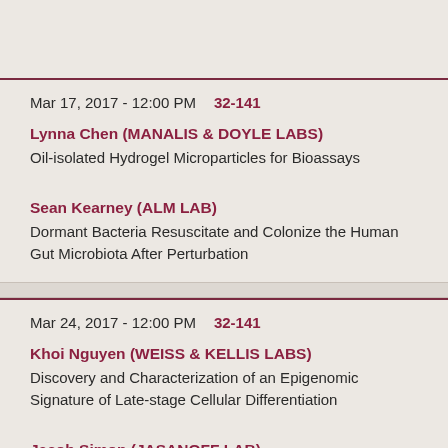Mar 17, 2017 - 12:00 PM   32-141
Lynna Chen (MANALIS & DOYLE LABS)
Oil-isolated Hydrogel Microparticles for Bioassays
Sean Kearney (ALM LAB)
Dormant Bacteria Resuscitate and Colonize the Human Gut Microbiota After Perturbation
Mar 24, 2017 - 12:00 PM   32-141
Khoi Nguyen (WEISS & KELLIS LABS)
Discovery and Characterization of an Epigenomic Signature of Late-stage Cellular Differentiation
Jacob Simon (JASANOFF LAB)
Liposomal MRI Contrast Agents: A Novel Architecture for